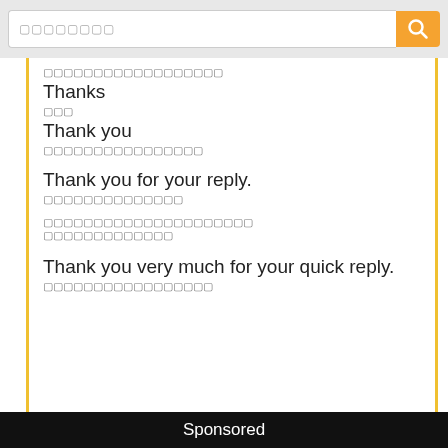[Figure (screenshot): Search bar with orange search button and magnifying glass icon on grey background]
ขอบคุณมากครับ/ค่ะ
Thanks
ขอบคุณ
Thank you
ขอบคุณสำหรับคำตอบ
Thank you for your reply.
ขอบคุณที่ตอบกลับ
ขอบคุณมากที่ตอบกลับมา
ขอบคุณสำหรับการตอบกลับ
Thank you very much for your quick reply.
ขอบคุณมากที่ตอบกลับอย่างรวดเร็ว
Sponsored